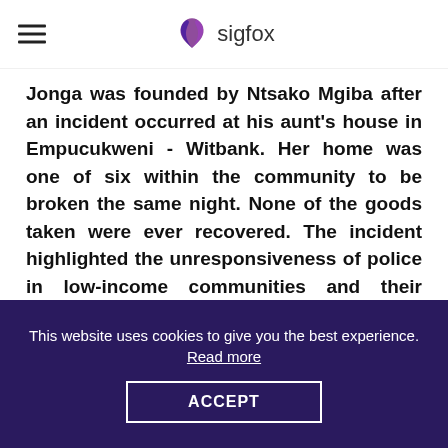sigfox
Jonga was founded by Ntsako Mgiba after an incident occurred at his aunt's house in Empucukweni - Witbank. Her home was one of six within the community to be broken the same night. None of the goods taken were ever recovered. The incident highlighted the unresponsiveness of police in low-income communities and their inability to protect their homes due to the high cost of security systems.
This website uses cookies to give you the best experience. Read more
ACCEPT